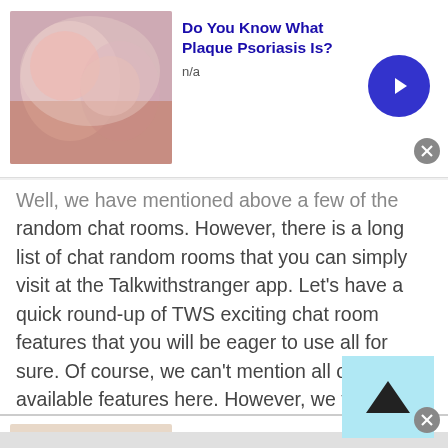[Figure (other): Advertisement banner top: image of skin condition, title 'Do You Know What Plaque Psoriasis Is?', n/a, blue arrow button, close X button]
Well, we have mentioned above a few of the random chat rooms. However, there is a long list of chat random rooms that you can simply visit at the Talkwithstranger app. Let's have a quick round-up of TWS exciting chat room features that you will be eager to use all for sure. Of course, we can't mention all of the available features here. However, we try to sum up some core features that give you an idea of how TWS is going to be so popular worldwide.
[Figure (other): Advertisement banner bottom: image of hand with mole, title 'Do You Know What Plaque Psoriasis Is?', n/a, blue arrow button, close X button]